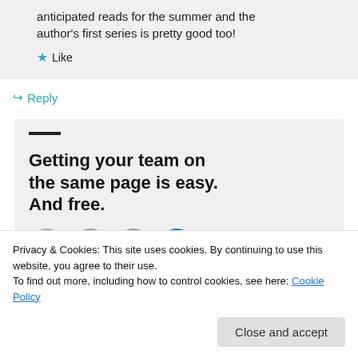anticipated reads for the summer and the author's first series is pretty good too!
★ Like
↪ Reply
[Figure (infographic): WordPress.com advertisement with bold headline 'Getting your team on the same page is easy. And free.' with a black bar accent and circular profile photo avatars at the bottom including a blue circle with an info icon.]
Privacy & Cookies: This site uses cookies. By continuing to use this website, you agree to their use.
To find out more, including how to control cookies, see here: Cookie Policy
Close and accept